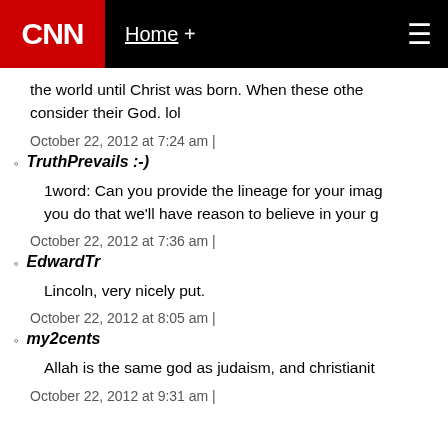CNN | Home +
the world until Christ was born. When these othe consider their God. lol
October 22, 2012 at 7:24 am |
TruthPrevails :-)
1word: Can you provide the lineage for your imag you do that we'll have reason to believe in your g
October 22, 2012 at 7:36 am |
EdwardTr
Lincoln, very nicely put.
October 22, 2012 at 8:05 am |
my2cents
Allah is the same god as judaism, and christianit
October 22, 2012 at 9:31 am |